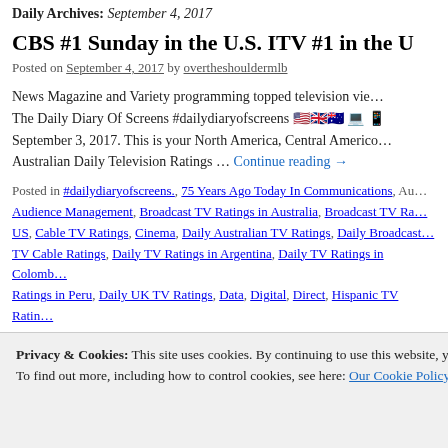Daily Archives: September 4, 2017
CBS #1 Sunday in the U.S. ITV #1 in the U…
Posted on September 4, 2017 by overtheshouldermlb
News Magazine and Variety programming topped television vie… The Daily Diary Of Screens #dailydiaryofscreens 🇺🇸🇬🇧🇦🇺💻📱 September 3, 2017. This is your North America, Central Americo… Australian Daily Television Ratings … Continue reading →
Posted in #dailydiaryofscreens., 75 Years Ago Today In Communications, Au… Audience Management, Broadcast TV Ratings in Australia, Broadcast TV Ra… US, Cable TV Ratings, Cinema, Daily Australian TV Ratings, Daily Broadcast… TV Cable Ratings, Daily TV Ratings in Argentina, Daily TV Ratings in Colomb… Ratings in Peru, Daily UK TV Ratings, Data, Digital, Direct, Hispanic TV Ratin… Analysis, Media Management, Mobile, Music To Read By, Music To Read ove… Ratings, Television Premiere Dates 2017, Television Program Renewals, Tele…
Privacy & Cookies: This site uses cookies. By continuing to use this website, you agree to their use.
To find out more, including how to control cookies, see here: Our Cookie Policy
Close and accept